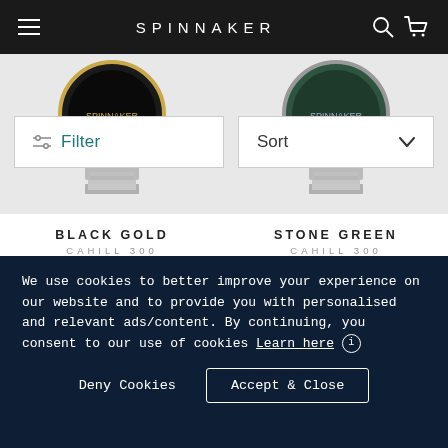SPINNAKER
[Figure (screenshot): Filter and Sort controls, two watch product images (Black Gold and Stone Green Cahill 300), product names, ratings, prices, and two more watches with New badges]
BLACK GOLD
CAHILL 300
★★★★★ 1 review
$370.00 USD
STONE GREEN
CAHILL 300
$370.00 USD
We use cookies to better improve your experience on our website and to provide you with personalised and relevant ads/content. By continuing, you consent to our use of cookies Learn here ⓘ
Deny Cookies
Accept & Close